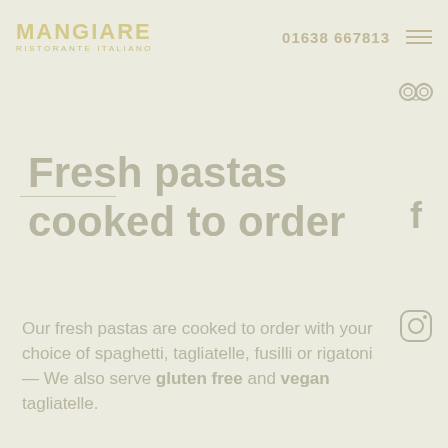MANGIARE RISTORANTE ITALIANO  01638 667813
[Figure (logo): TripAdvisor owl logo icon in light grey]
Fresh pastas cooked to order
[Figure (logo): Facebook 'f' logo icon in light grey]
[Figure (logo): Instagram camera icon in light grey]
Our fresh pastas are cooked to order with your choice of spaghetti, tagliatelle, fusilli or rigatoni — We also serve gluten free and vegan tagliatelle.